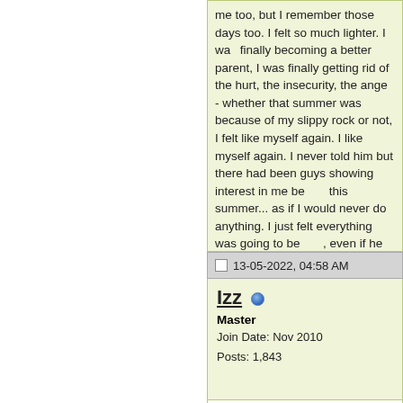me too, but I remember those days too. I felt so much lighter. I was finally becoming a better parent, I was finally getting rid of the hurt, the insecurity, the anger - whether that summer was because of my slippy rock or not, I felt like myself again. I liked myself again. I never told him but there had been guys showing interest in me before this summer... as if I would never do anything. I just felt everything was going to be fine, even if he never liked me again, or even if any of my old thought ghosts get the upper hand again next summer.
13-05-2022, 04:58 AM
Izz
Master
Join Date: Nov 2010
Posts: 1,843
Hello again asearcher

I'm sorry to hear that your luv added to that kind of internal conflict

This is why his inner work is about breaking away from that dysfunctional family (mother in law) - in terms of breaking away from the mental bars and chains imposed to recreate these few dysfunctional patterns passed down to him although he uses this method as a learned survival coping mechanism

Inner work of that sort is necessary. Your luv needs to stop enabling this family member although he didn't intend to

I myself because of that toxic dysfunctional person related to me, as one example, had to work in ensuring that I don't draw in any more w...